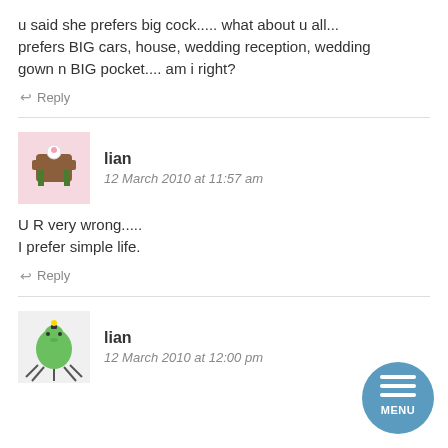u said she prefers big cock..... what about u all... prefers BIG cars, house, wedding reception, wedding gown n BIG pocket.... am i right?
↩ Reply
lian
12 March 2010 at 11:57 am
U R very wrong.....
I prefer simple life.
↩ Reply
lian
12 March 2010 at 12:00 pm